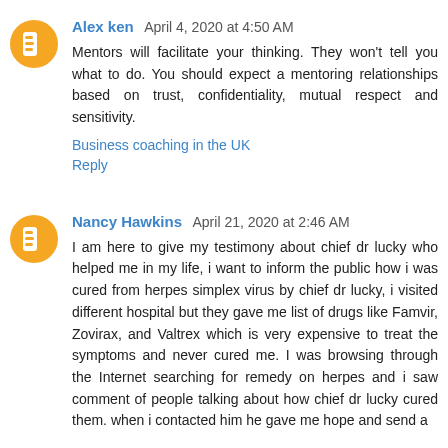Alex ken  April 4, 2020 at 4:50 AM
Mentors will facilitate your thinking. They won't tell you what to do. You should expect a mentoring relationships based on trust, confidentiality, mutual respect and sensitivity.
Business coaching in the UK
Reply
Nancy Hawkins  April 21, 2020 at 2:46 AM
I am here to give my testimony about chief dr lucky who helped me in my life, i want to inform the public how i was cured from herpes simplex virus by chief dr lucky, i visited different hospital but they gave me list of drugs like Famvir, Zovirax, and Valtrex which is very expensive to treat the symptoms and never cured me. I was browsing through the Internet searching for remedy on herpes and i saw comment of people talking about how chief dr lucky cured them. when i contacted him he gave me hope and send a